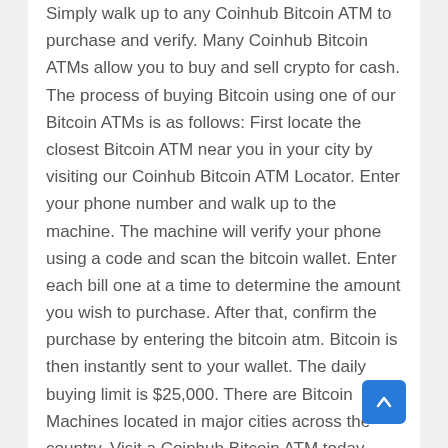Simply walk up to any Coinhub Bitcoin ATM to purchase and verify. Many Coinhub Bitcoin ATMs allow you to buy and sell crypto for cash. The process of buying Bitcoin using one of our Bitcoin ATMs is as follows: First locate the closest Bitcoin ATM near you in your city by visiting our Coinhub Bitcoin ATM Locator. Enter your phone number and walk up to the machine. The machine will verify your phone using a code and scan the bitcoin wallet. Enter each bill one at a time to determine the amount you wish to purchase. After that, confirm the purchase by entering the bitcoin atm. Bitcoin is then instantly sent to your wallet. The daily buying limit is $25,000. There are Bitcoin Machines located in major cities across the country. Visit a Coinhub Bitcoin ATM today.
The Coinhub Bitcoin ATM is located within Vapor Maven at 1345 Worthington Centre Dr in Columbus,